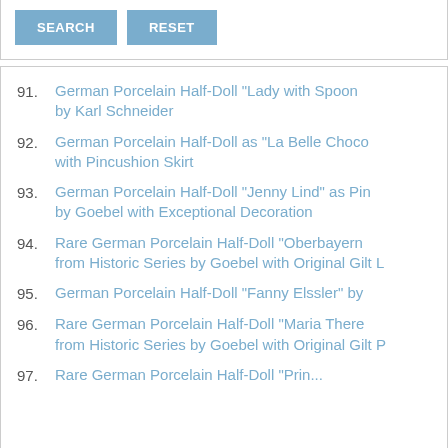[Figure (screenshot): Search and Reset buttons at top of page]
91. German Porcelain Half-Doll "Lady with Spoon" by Karl Schneider
92. German Porcelain Half-Doll as "La Belle Choco" with Pincushion Skirt
93. German Porcelain Half-Doll "Jenny Lind" as Pin by Goebel with Exceptional Decoration
94. Rare German Porcelain Half-Doll "Oberbayern" from Historic Series by Goebel with Original Gilt L
95. German Porcelain Half-Doll "Fanny Elssler" by
96. Rare German Porcelain Half-Doll "Maria There" from Historic Series by Goebel with Original Gilt P
97. Rare German Porcelain Half-Doll "Prin..."